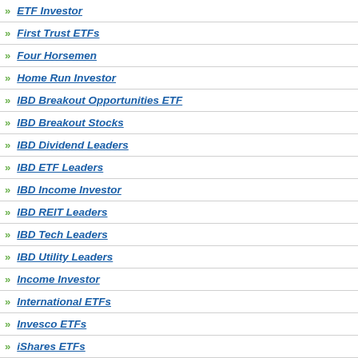ETF Investor
First Trust ETFs
Four Horsemen
Home Run Investor
IBD Breakout Opportunities ETF
IBD Breakout Stocks
IBD Dividend Leaders
IBD ETF Leaders
IBD Income Investor
IBD REIT Leaders
IBD Tech Leaders
IBD Utility Leaders
Income Investor
International ETFs
Invesco ETFs
iShares ETFs
JPMorgan ETFs